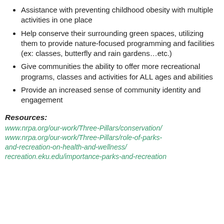Assistance with preventing childhood obesity with multiple activities in one place
Help conserve their surrounding green spaces, utilizing them to provide nature-focused programming and facilities (ex: classes, butterfly and rain gardens…etc.)
Give communities the ability to offer more recreational programs, classes and activities for ALL ages and abilities
Provide an increased sense of community identity and engagement
Resources:
www.nrpa.org/our-work/Three-Pillars/conservation/
www.nrpa.org/our-work/Three-Pillars/role-of-parks-and-recreation-on-health-and-wellness/
recreation.eku.edu/importance-parks-and-recreation